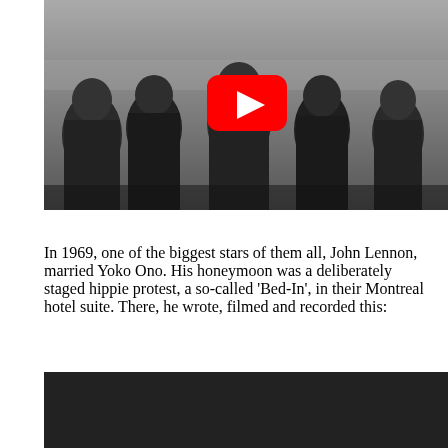[Figure (photo): Black and white photograph of five men standing together, with a YouTube play button overlay in the center]
In 1969, one of the biggest stars of them all, John Lennon, married Yoko Ono. His honeymoon was a deliberately staged hippie protest, a so-called 'Bed-In', in their Montreal hotel suite. There, he wrote, filmed and recorded this:
[Figure (screenshot): Dark/black video thumbnail at the bottom of the page]